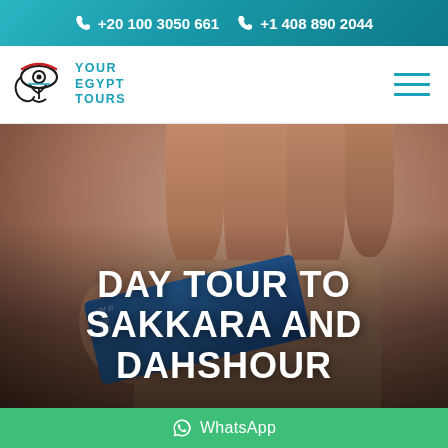+20 100 3050 661  +1 408 890 2044
[Figure (logo): Your Egypt Tours logo with Eye of Horus hieroglyph and brand name]
[Figure (photo): Close-up of a hand holding a blue credit/payment card against a blurred background]
DAY TOUR TO SAKKARA AND DAHSHOUR
WhatsApp